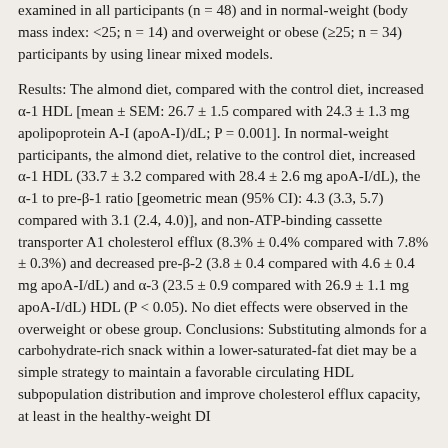examined in all participants (n = 48) and in normal-weight (body mass index: <25; n = 14) and overweight or obese (≥25; n = 34) participants by using linear mixed models.
Results: The almond diet, compared with the control diet, increased α-1 HDL [mean ± SEM: 26.7 ± 1.5 compared with 24.3 ± 1.3 mg apolipoprotein A-I (apoA-I)/dL; P = 0.001]. In normal-weight participants, the almond diet, relative to the control diet, increased α-1 HDL (33.7 ± 3.2 compared with 28.4 ± 2.6 mg apoA-I/dL), the α-1 to pre-β-1 ratio [geometric mean (95% CI): 4.3 (3.3, 5.7) compared with 3.1 (2.4, 4.0)], and non-ATP-binding cassette transporter A1 cholesterol efflux (8.3% ± 0.4% compared with 7.8% ± 0.3%) and decreased pre-β-2 (3.8 ± 0.4 compared with 4.6 ± 0.4 mg apoA-I/dL) and α-3 (23.5 ± 0.9 compared with 26.9 ± 1.1 mg apoA-I/dL) HDL (P < 0.05). No diet effects were observed in the overweight or obese group. Conclusions: Substituting almonds for a carbohydrate-rich snack within a lower-saturated-fat diet may be a simple strategy to maintain a favorable circulating HDL subpopulation distribution and improve cholesterol efflux capacity, at least in the healthy-weight DI